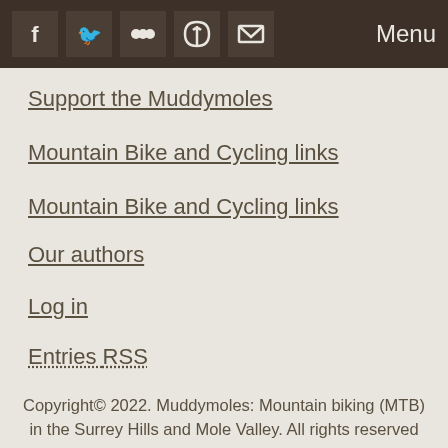Menu
Support the Muddymoles
Mountain Bike and Cycling links
Mountain Bike and Cycling links
Our authors
Log in
Entries RSS
Copyright© 2022. Muddymoles: Mountain biking (MTB) in the Surrey Hills and Mole Valley. All rights reserved